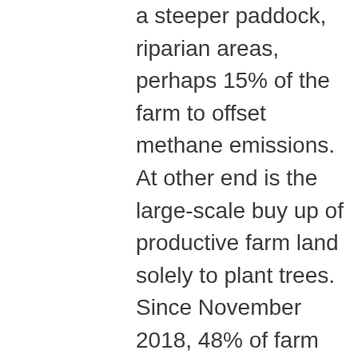a steeper paddock, riparian areas, perhaps 15% of the farm to offset methane emissions. At other end is the large-scale buy up of productive farm land solely to plant trees. Since November 2018, 48% of farm sales on the East Coast have been to forestry. In Gisborne alone ~3,000ha; Wairoa ~10,000ha; The King Country ~4,000ha and Masterton ~100,000 SU have been replaced by trees. Many of these sales are going to international buyers who apply to the OIO under the ‘special forestry test’ where applicants are not required to show a benefit in relation